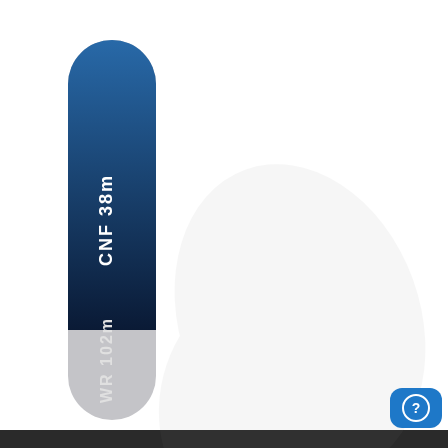[Figure (illustration): A tall vertical pill/rod-shaped component label. The top portion has a blue-to-dark-navy gradient rounded cap with white vertical text 'CNF 38m'. The bottom portion is light gray with white vertical text 'WR 102m' near the bottom. The gray section has a faint watermark-style hand/fish logo. A blue rounded-square button with a white question mark circle icon appears in the bottom right corner. A dark gray bar runs along the very bottom edge.]